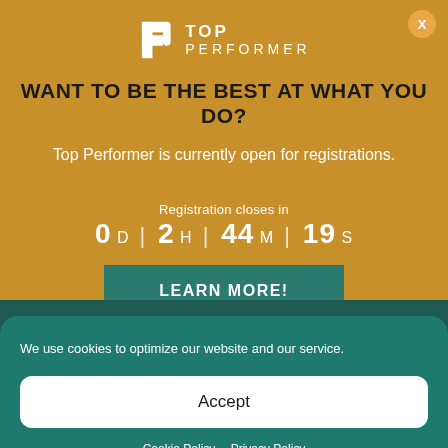[Figure (logo): Top Performer logo with stylized P and text TOP PERFORMER]
WANT TO BE THE BEST AT WHAT YOU DO?
Top Performer is currently open for registrations.
Registration closes in
0 D | 2 H | 44 M | 19 S
LEARN MORE!
We use cookies to optimize our website and our service.
Accept
Cookie Policy  Privacy Policy